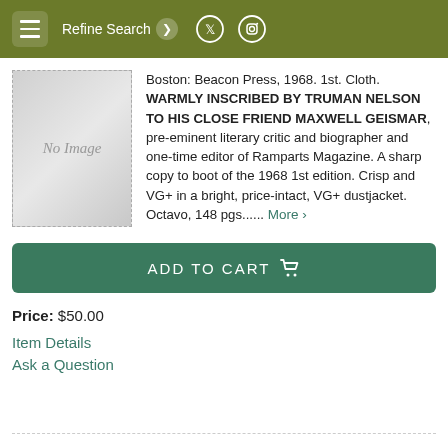Refine Search
[Figure (other): Book thumbnail placeholder showing 'No Image']
Boston: Beacon Press, 1968. 1st. Cloth. WARMLY INSCRIBED BY TRUMAN NELSON TO HIS CLOSE FRIEND MAXWELL GEISMAR, pre-eminent literary critic and biographer and one-time editor of Ramparts Magazine. A sharp copy to boot of the 1968 1st edition. Crisp and VG+ in a bright, price-intact, VG+ dustjacket. Octavo, 148 pgs..... More >
ADD TO CART
Price: $50.00
Item Details
Ask a Question